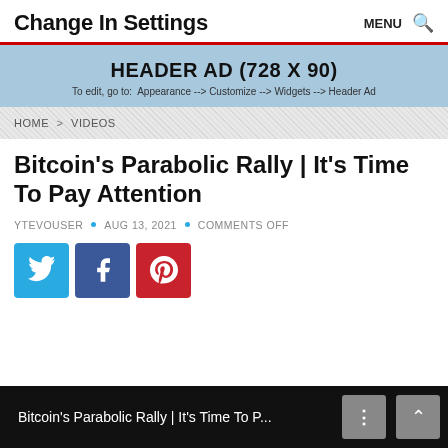Change In Settings   MENU 🔍
[Figure (infographic): Header Ad banner (728 x 90). Light blue background. Text: HEADER AD (728 X 90) / To edit, go to: Appearance --> Customize --> Widgets --> Header Ad]
HOME > VIDEOS
Bitcoin's Parabolic Rally | It's Time To Pay Attention
YTEVOUSER • AUG 13, 2021 • COMMENTS OFF
[Figure (infographic): Social share buttons: Twitter (blue), Facebook (dark blue), Pinterest (red)]
[Figure (screenshot): Black video bar at bottom showing: Bitcoin's Parabolic Rally | It's Time To P... with menu and scroll-to-top buttons]